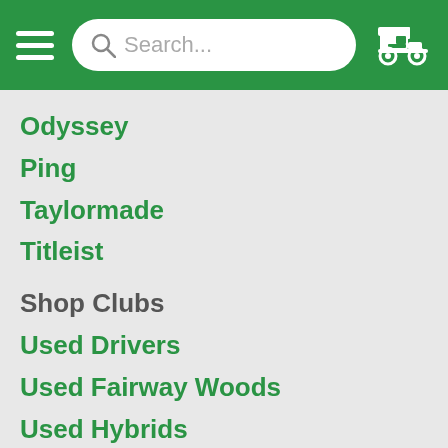[Figure (screenshot): Green navigation header with hamburger menu, search bar, and golf cart icon]
Odyssey
Ping
Taylormade
Titleist
Shop Clubs
Used Drivers
Used Fairway Woods
Used Hybrids
Used Iron Sets
Used Single Irons
Used Wedges
Used Putters
Used Complete Sets
New Clubs